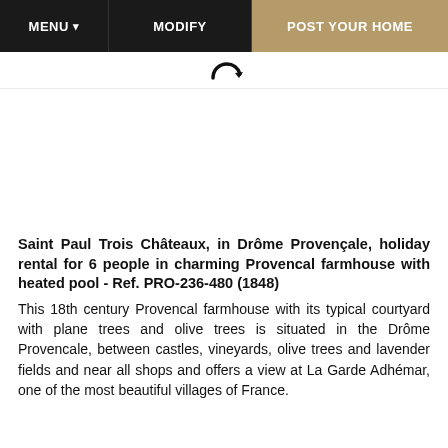MENU ▼   MODIFY   POST YOUR HOME
[Figure (other): Refresh/reload icon (curved arrow)]
[Figure (photo): Image placeholder area for property photo]
Saint Paul Trois Châteaux, in Drôme Provençale, holiday rental for 6 people in charming Provencal farmhouse with heated pool - Ref. PRO-236-480 (1848)
This 18th century Provencal farmhouse with its typical courtyard with plane trees and olive trees is situated in the Drôme Provencale, between castles, vineyards, olive trees and lavender fields and near all shops and offers a view at La Garde Adhémar, one of the most beautiful villages of France.